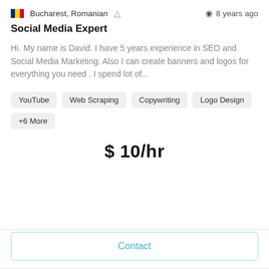🇷🇴 Bucharest, Romanian  👤  🕐 8 years ago
Social Media Expert
Hi. My name is David. I have 5 years experience in SEO and Social Media Marketing. Also I can create banners and logos for everything you need . I spend lot of...
YouTube
Web Scraping
Copywriting
Logo Design
+6 More
$ 10/hr
Contact